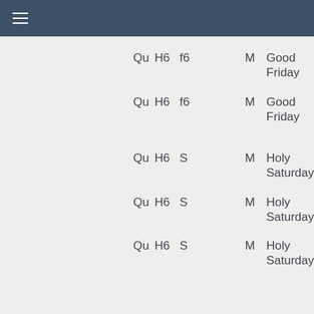≡
| Qu | H6 | f6/S | M | Name |
| --- | --- | --- | --- | --- |
| Qu | H6 | f6 | M | Good Friday |
| Qu | H6 | f6 | M | Good Friday |
| Qu | H6 | S | M | Holy Saturday |
| Qu | H6 | S | M | Holy Saturday |
| Qu | H6 | S | M | Holy Saturday |
| Qu | H6 | S | M | Holy Saturday |